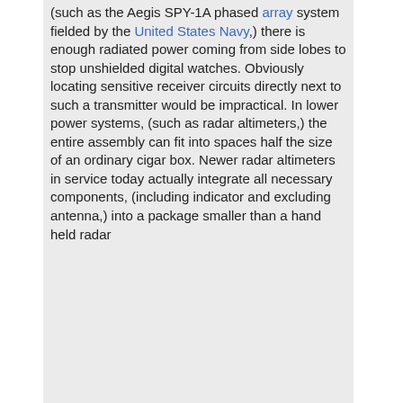(such as the Aegis SPY-1A phased array system fielded by the United States Navy,) there is enough radiated power coming from side lobes to stop unshielded digital watches. Obviously locating sensitive receiver circuits directly next to such a transmitter would be impractical. In lower power systems, (such as radar altimeters,) the entire assembly can fit into spaces half the size of an ordinary cigar box. Newer radar altimeters in service today actually integrate all necessary components, (including indicator and excluding antenna,) into a package smaller than a hand held radar